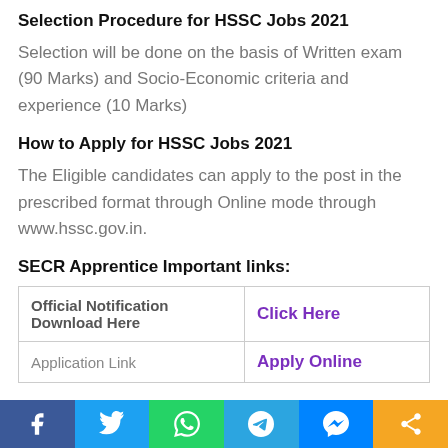Selection Procedure for HSSC Jobs 2021
Selection will be done on the basis of Written exam (90 Marks) and Socio-Economic criteria and experience (10 Marks)
How to Apply for HSSC Jobs 2021
The Eligible candidates can apply to the post in the prescribed format through Online mode through www.hssc.gov.in.
SECR Apprentice Important links:
| Official Notification Download Here | Click Here |
| Application Link | Apply Online |
f  Twitter  WhatsApp  Telegram  Messenger  Share